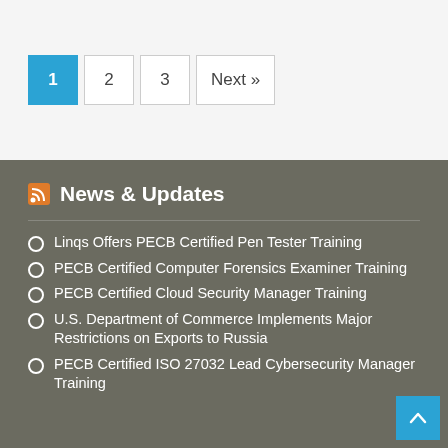1 2 3 Next »
News & Updates
Linqs Offers PECB Certified Pen Tester Training
PECB Certified Computer Forensics Examiner Training
PECB Certified Cloud Security Manager Training
U.S. Department of Commerce Implements Major Restrictions on Exports to Russia
PECB Certified ISO 27032 Lead Cybersecurity Manager Training